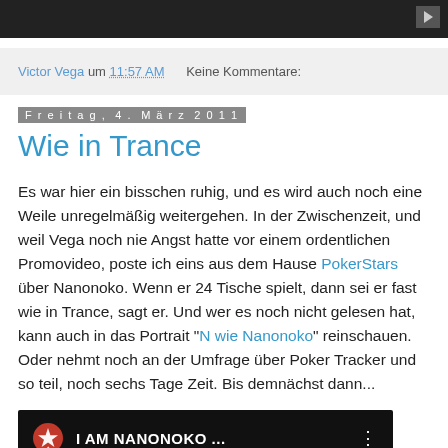[Figure (screenshot): Top portion of a dark video player thumbnail]
Victor Vega um 11:57 AM    Keine Kommentare:
Freitag, 4. März 2011
Wie in Trance
Es war hier ein bisschen ruhig, und es wird auch noch eine Weile unregelmäßig weitergehen. In der Zwischenzeit, und weil Vega noch nie Angst hatte vor einem ordentlichen Promovideo, poste ich eins aus dem Hause PokerStars über Nanonoko. Wenn er 24 Tische spielt, dann sei er fast wie in Trance, sagt er. Und wer es noch nicht gelesen hat, kann auch in das Portrait "N wie Nanonoko" reinschauen. Oder nehmt noch an der Umfrage über Poker Tracker und so teil, noch sechs Tage Zeit. Bis demnächst dann...
[Figure (screenshot): PokerStars video thumbnail showing I AM NANONOKO ... text with PokerStars logo]